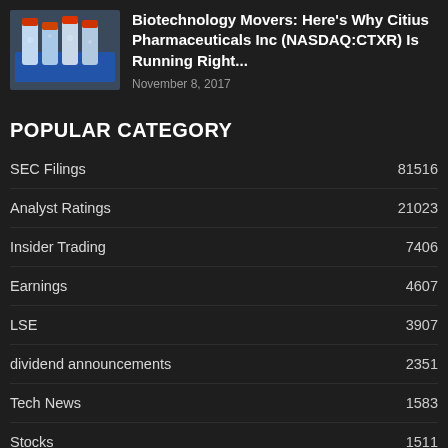[Figure (photo): Photo of laboratory vials/test tubes in a blue rack with orange caps]
Biotechnology Movers: Here's Why Citius Pharmaceuticals Inc (NASDAQ:CTXR) Is Running Right...
November 8, 2017
POPULAR CATEGORY
SEC Filings 81516
Analyst Ratings 21023
Insider Trading 7406
Earnings 4607
LSE 3907
dividend announcements 2351
Tech News 1583
Stocks 1511
Biotech Stocks 1465